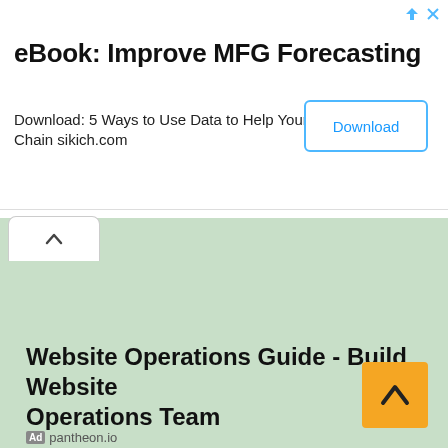eBook: Improve MFG Forecasting
Download: 5 Ways to Use Data to Help Your Supply Chain sikich.com
[Figure (screenshot): Download button with blue border]
[Figure (screenshot): Back/up arrow tab button on white background]
Website Operations Guide - Build Website Operations Team
Ad · pantheon.io
[Figure (screenshot): Orange back-to-top button with upward chevron arrow]